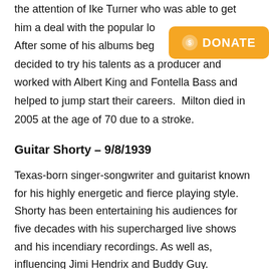the attention of Ike Turner who was able to get him a deal with the popular lo... After some of his albums began to tank, he decided to try his talents as a producer and worked with Albert King and Fontella Bass and helped to jump start their careers.  Milton died in 2005 at the age of 70 due to a stroke.
Guitar Shorty – 9/8/1939
Texas-born singer-songwriter and guitarist known for his highly energetic and fierce playing style. Shorty has been entertaining his audiences for five decades with his supercharged live shows and his incendiary recordings. As well as, influencing Jimi Hendrix and Buddy Guy.